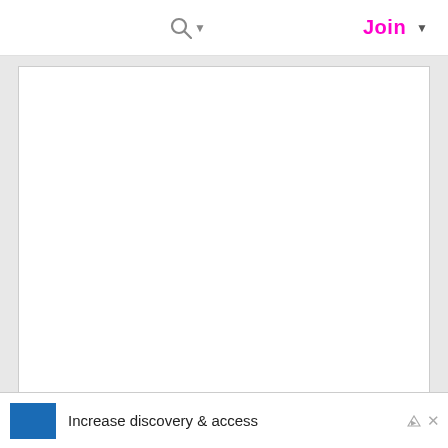🔍▾   Join ▾
[Figure (screenshot): White content area with light gray background, resembling a document viewer or web page body with an empty white rectangle framed by a thin border.]
[Figure (screenshot): Bottom tab/chevron bar with a downward chevron (˅) icon on white background.]
Increase discovery & access